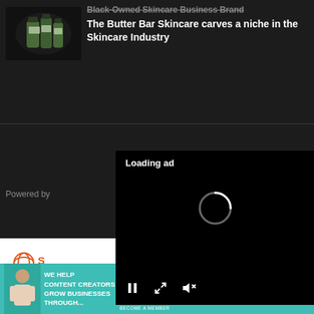[Figure (screenshot): Article card with thumbnail image of skincare product bottles on dark background]
Black-Owned Skincare Business Brand The Butter Bar Skincare carves a niche in the Skincare Industry
[Figure (screenshot): Video ad overlay with loading spinner, pause button, expand button, and mute button on black background]
Loading ad
Powered by
Learn More | Privacy
[Figure (logo): SHE Collective logo in orange]
[Figure (advertisement): Banner ad: WE HELP CONTENT CREATORS GROW BUSINESSES THROUGH... SHE PARTNER NETWORK BECOME A MEMBER - LEARN MORE button]